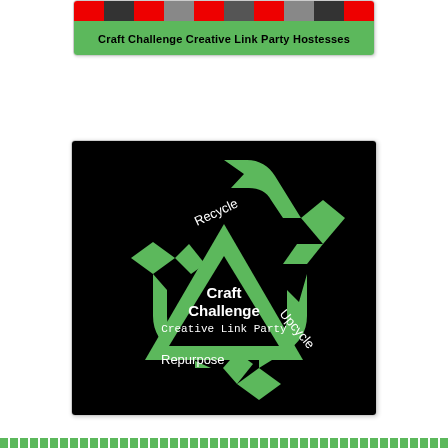[Figure (illustration): Green banner card with photo strip at top and bold text 'Craft Challenge Creative Link Party Hostesses' on green background]
[Figure (logo): Black square logo with green recycling symbol (three arrows) labeled Recycle, Upcycle, Repurpose and center text 'Craft Challenge Creative Link Party']